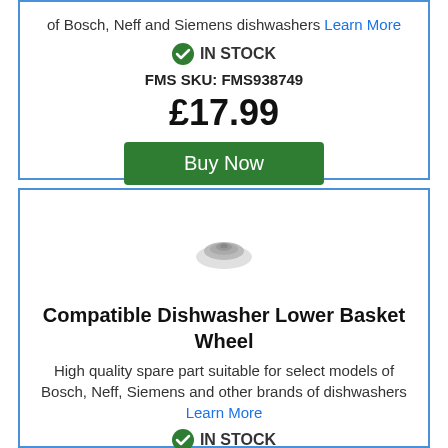of Bosch, Neff and Siemens dishwashers Learn More
IN STOCK
FMS SKU: FMS938749
£17.99
Buy Now
[Figure (photo): Small dishwasher lower basket wheel component, silver/grey colored]
Compatible Dishwasher Lower Basket Wheel
High quality spare part suitable for select models of Bosch, Neff, Siemens and other brands of dishwashers Learn More
IN STOCK